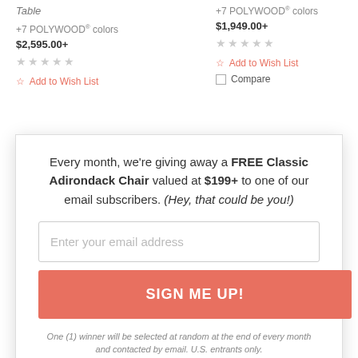Table
+7 POLYWOOD® colors
$2,595.00+
★★★★★
☆ Add to Wish List
+7 POLYWOOD® colors
$1,949.00+
★★★★★
☆ Add to Wish List
Compare
Every month, we're giving away a FREE Classic Adirondack Chair valued at $199+ to one of our email subscribers. (Hey, that could be you!)
Enter your email address
SIGN ME UP!
One (1) winner will be selected at random at the end of every month and contacted by email. U.S. entrants only.